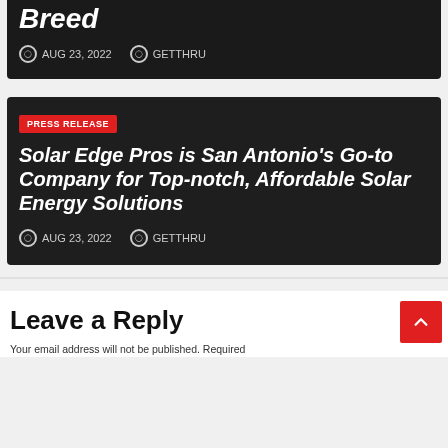Breed
AUG 23, 2022  GETTHRU
PRESS RELEASE
Solar Edge Pros is San Antonio's Go-to Company for Top-notch, Affordable Solar Energy Solutions
AUG 23, 2022  GETTHRU
Leave a Reply
Your email address will not be published. Required